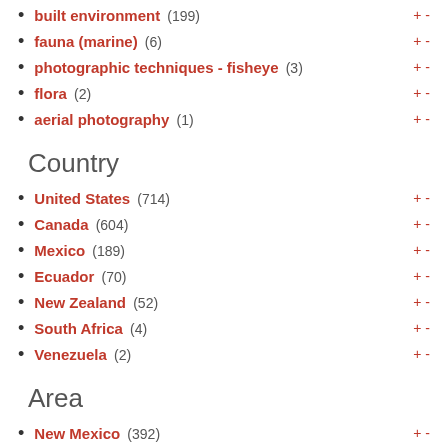built environment (199)
fauna (marine) (6)
photographic techniques - fisheye (3)
flora (2)
aerial photography (1)
Country
United States (714)
Canada (604)
Mexico (189)
Ecuador (70)
New Zealand (52)
South Africa (4)
Venezuela (2)
Area
New Mexico (392)
Yucatan (189)
British Columbia (187)
Quebec (144)